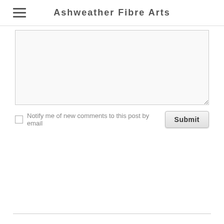Ashweather Fibre Arts
Notify me of new comments to this post by email